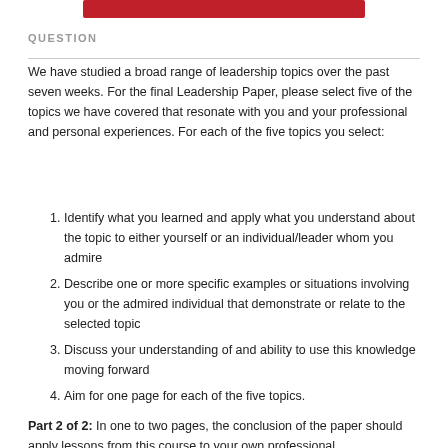[Figure (other): Red horizontal bar at top of page]
QUESTION
We have studied a broad range of leadership topics over the past seven weeks. For the final Leadership Paper, please select five of the topics we have covered that resonate with you and your professional and personal experiences. For each of the five topics you select:
Identify what you learned and apply what you understand about the topic to either yourself or an individual/leader whom you admire
Describe one or more specific examples or situations involving you or the admired individual that demonstrate or relate to the selected topic
Discuss your understanding of and ability to use this knowledge moving forward
Aim for one page for each of the five topics.
Part 2 of 2: In one to two pages, the conclusion of the paper should apply lessons from this course to your own professional